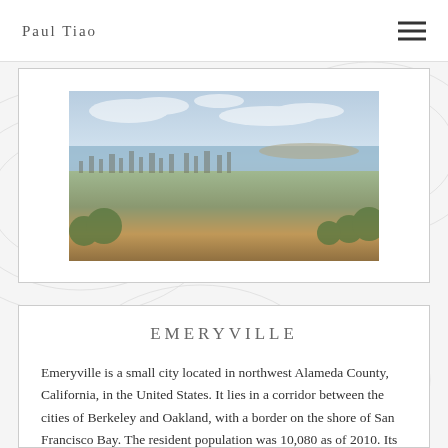Paul Tiao
[Figure (photo): Panoramic aerial view of Emeryville / Oakland area looking toward San Francisco Bay, showing urban sprawl with bay and sky in background]
Emeryville
Emeryville is a small city located in northwest Alameda County, California, in the United States. It lies in a corridor between the cities of Berkeley and Oakland, with a border on the shore of San Francisco Bay. The resident population was 10,080 as of 2010. Its